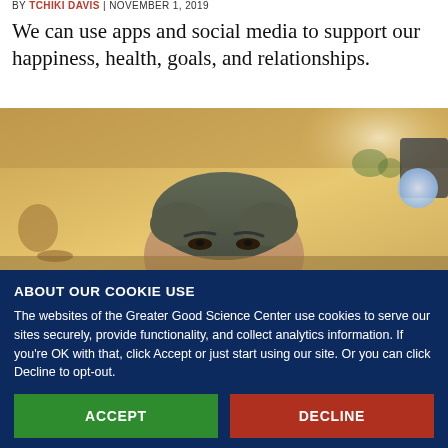BY TCHIKI DAVIS | NOVEMBER 1, 2019
We can use apps and social media to support our happiness, health, goals, and relationships.
[Figure (photo): A person looking up, head and eyes visible above what appears to be a surface, indoor blurred background with warm tones]
ABOUT OUR COOKIE USE
The websites of the Greater Good Science Center use cookies to serve our sites securely, provide functionality, and collect analytics information. If you're OK with that, click Accept or just start using our site. Or you can click Decline to opt-out.
ACCEPT
DECLINE